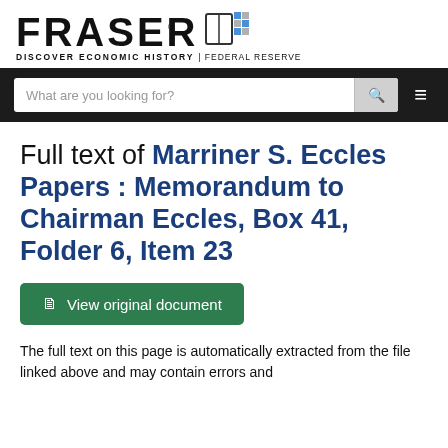FRASER – DISCOVER ECONOMIC HISTORY | FEDERAL RESERVE
Full text of Marriner S. Eccles Papers : Memorandum to Chairman Eccles, Box 41, Folder 6, Item 23
View original document
The full text on this page is automatically extracted from the file linked above and may contain errors and